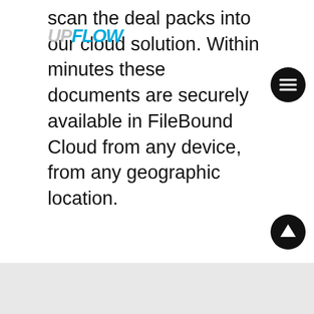scan the deal packs into our cloud solution. Within minutes these documents are securely available in FileBound Cloud from any device, from any geographic location.
[Figure (logo): auto.i.t. logo with blue swoosh and colored dots, tagline POWERFUL DEALER MANAGEMENT SYSTEMS]